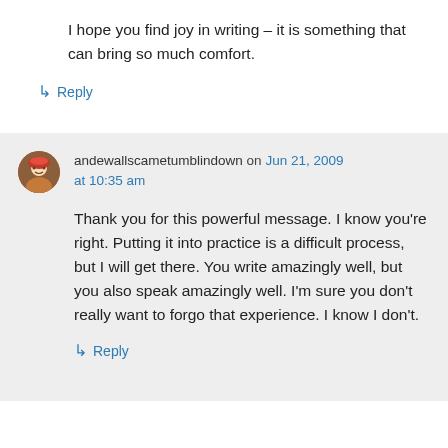I hope you find joy in writing – it is something that can bring so much comfort.
↳ Reply
andewallscametumblindown on Jun 21, 2009 at 10:35 am
Thank you for this powerful message. I know you're right. Putting it into practice is a difficult process, but I will get there. You write amazingly well, but you also speak amazingly well. I'm sure you don't really want to forgo that experience. I know I don't.
↳ Reply